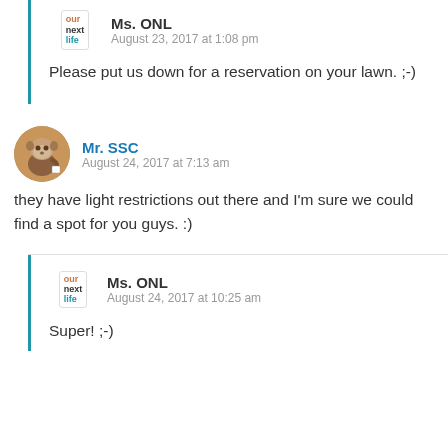Ms. ONL
August 23, 2017 at 1:08 pm
Please put us down for a reservation on your lawn. ;-)
Mr. SSC
August 24, 2017 at 7:13 am
they have light restrictions out there and I'm sure we could find a spot for you guys. :)
Ms. ONL
August 24, 2017 at 10:25 am
Super! ;-)